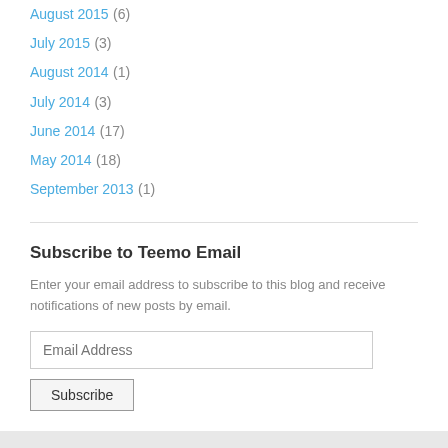August 2015 (6)
July 2015 (3)
August 2014 (1)
July 2014 (3)
June 2014 (17)
May 2014 (18)
September 2013 (1)
Subscribe to Teemo Email
Enter your email address to subscribe to this blog and receive notifications of new posts by email.
View Full Site
Proudly powered by WordPress